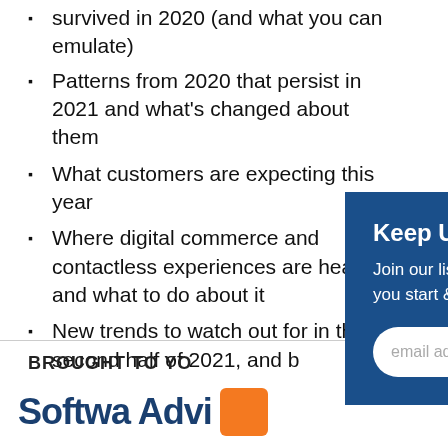survived in 2020 (and what you can emulate)
Patterns from 2020 that persist in 2021 and what's changed about them
What customers are expecting this year
Where digital commerce and contactless experiences are headed and what to do about it
New trends to watch out for in the second half of 2021, and b…
BROUGHT TO YO…
[Figure (screenshot): Popup overlay with dark blue background showing 'Keep Up With SCORE Browa…' heading, subscription text, and email address input field with submit button]
[Figure (logo): Software Advice logo - partial text in dark blue with orange square]